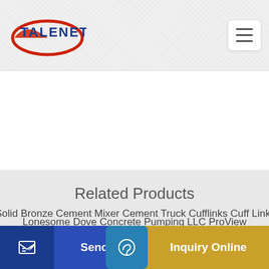TALENET
Related Products
Lonesome Dove Concrete Pumping LLC ProView
Solid Bronze Cement Mixer Cement Truck Cufflinks Cuff Links Men
d Atla
Send Message
Inquiry Online